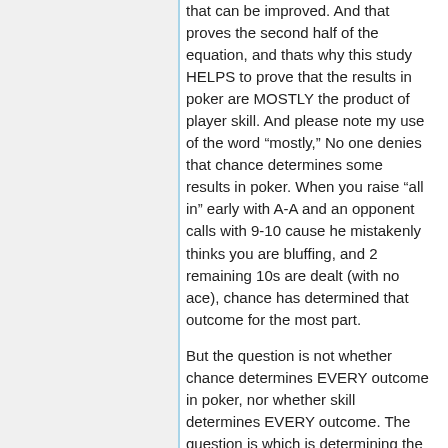that can be improved. And that proves the second half of the equation, and thats why this study HELPS to prove that the results in poker are MOSTLY the product of player skill. And please note my use of the word “mostly,” No one denies that chance determines some results in poker. When you raise “all in” early with A-A and an opponent calls with 9-10 cause he mistakenly thinks you are bluffing, and 2 remaining 10s are dealt (with no ace), chance has determined that outcome for the most part.
But the question is not whether chance determines EVERY outcome in poker, nor whether skill determines EVERY outcome. The question is which is determining the MAJORITY of outcomes. Since in the majority of outcomes the cards, as shown by this study, are not